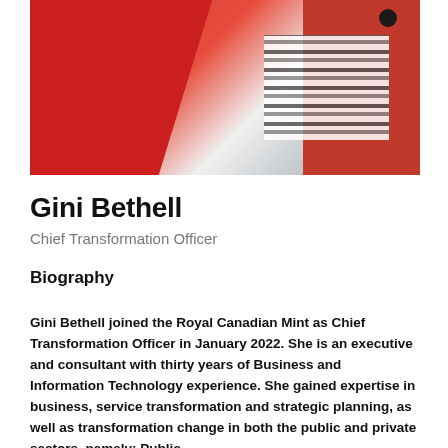[Figure (photo): Partial photo of Gini Bethell wearing a red blazer over a striped top, with a dark button visible]
Gini Bethell
Chief Transformation Officer
Biography
Gini Bethell joined the Royal Canadian Mint as Chief Transformation Officer in January 2022. She is an executive and consultant with thirty years of Business and Information Technology experience. She gained expertise in business, service transformation and strategic planning, as well as transformation change in both the public and private sectors, namely: Public